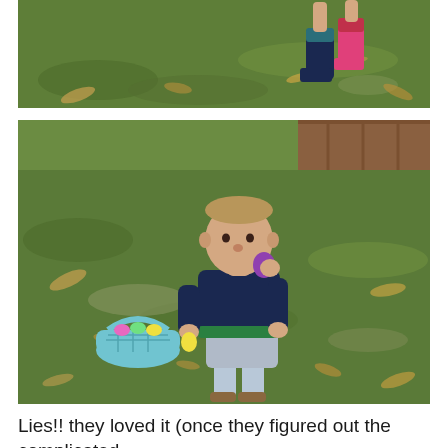[Figure (photo): Top photo: grassy yard with fallen leaves, child's feet visible wearing colorful rain boots (pink and teal/dark blue) mid-step, seen from legs down only]
[Figure (photo): Bottom photo: toddler boy in navy blue shirt with green stripe, grey shorts and sandals, standing on grass with leaves, eating/biting a purple Easter egg, holding a yellow egg in other hand, with a teal Easter basket on the ground nearby, wooden fence in background]
Lies!! they loved it (once they figured out the complicated